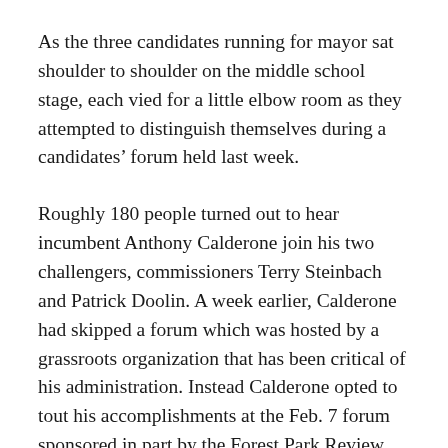As the three candidates running for mayor sat shoulder to shoulder on the middle school stage, each vied for a little elbow room as they attempted to distinguish themselves during a candidates' forum held last week.
Roughly 180 people turned out to hear incumbent Anthony Calderone join his two challengers, commissioners Terry Steinbach and Patrick Doolin. A week earlier, Calderone had skipped a forum which was hosted by a grassroots organization that has been critical of his administration. Instead Calderone opted to tout his accomplishments at the Feb. 7 forum sponsored in part by the Forest Park Review.
Calderone pointed to community policing efforts,